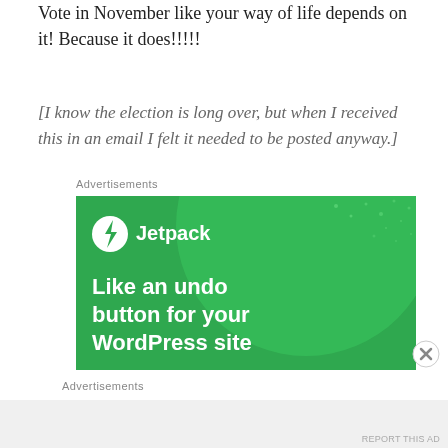Vote in November like your way of life depends on it! Because it does!!!!!
[I know the election is long over, but when I received this in an email I felt it needed to be posted anyway.]
Advertisements
[Figure (illustration): Jetpack advertisement banner with green background. Shows Jetpack logo (circle with lightning bolt) and text 'Jetpack' in white, with large white text reading 'Like an undo button for your WordPress site'. Background has a large light green circle shape with scattered dots.]
Advertisements
REPORT THIS AD